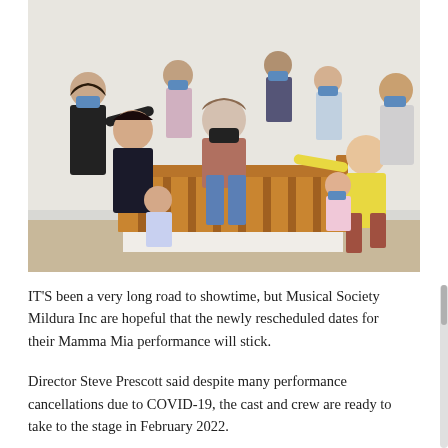[Figure (photo): Group of people rehearsing a theatrical performance, many wearing blue face masks. A central figure in a mauve t-shirt stands on or behind a wooden bed frame while surrounding cast members reach toward her in a dramatic pose. Indoor rehearsal space with white walls.]
IT'S been a very long road to showtime, but Musical Society Mildura Inc are hopeful that the newly rescheduled dates for their Mamma Mia performance will stick.
Director Steve Prescott said despite many performance cancellations due to COVID-19, the cast and crew are ready to take to the stage in February 2022.